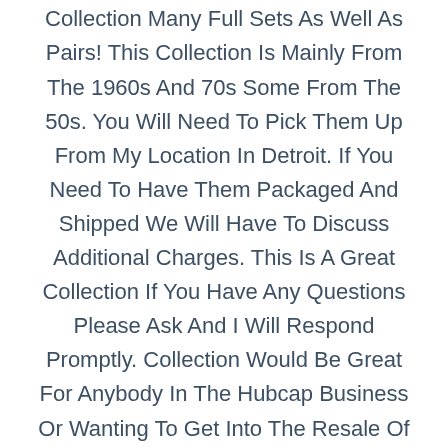Massive Vintage A Hubcap Collection Over 400 Wheel Covers!!. Huge Collection Many Full Sets As Well As Pairs! This Collection Is Mainly From The 1960s And 70s Some From The 50s. You Will Need To Pick Them Up From My Location In Detroit. If You Need To Have Them Packaged And Shipped We Will Have To Discuss Additional Charges. This Is A Great Collection If You Have Any Questions Please Ask And I Will Respond Promptly. Collection Would Be Great For Anybody In The Hubcap Business Or Wanting To Get Into The Resale Of Hubcaps. Or Awesome For Man Caves Or Repurposing!